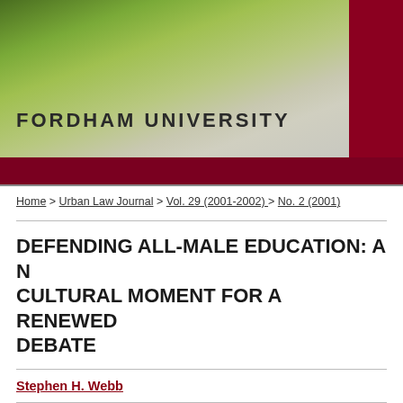[Figure (photo): Fordham University header with tree and building photo, dark red bar on right]
FORDHAM UNIVERSITY
Home > Urban Law Journal > Vol. 29 (2001-2002) > No. 2 (2001)
DEFENDING ALL-MALE EDUCATION: A NEW CULTURAL MOMENT FOR A RENEWED DEBATE
Stephen H. Webb
Keywords
Single-sex education
Abstract